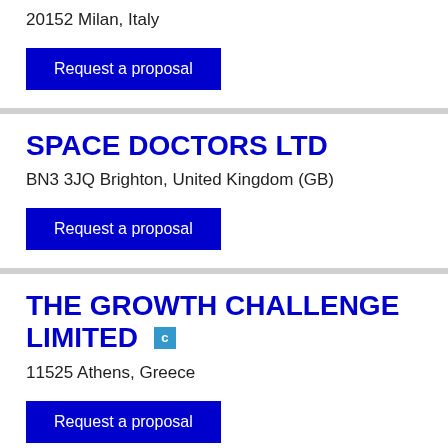20152 Milan, Italy
Request a proposal
SPACE DOCTORS LTD
BN3 3JQ Brighton, United Kingdom (GB)
Request a proposal
THE GROWTH CHALLENGE LIMITED
11525 Athens, Greece
Request a proposal